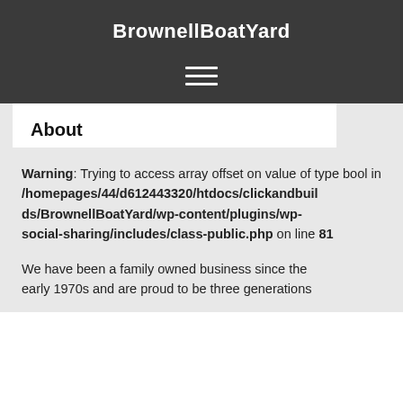BrownellBoatYard
About
Warning: Trying to access array offset on value of type bool in /homepages/44/d612443320/htdocs/clickandbuilds/BrownellBoatYard/wp-content/plugins/wp-social-sharing/includes/class-public.php on line 81
We have been a family owned business since the early 1970s and are proud to be three generations